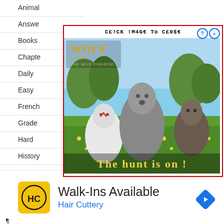Animal
Answe
Books
Chapte
Daily
Easy
French
Grade
Hard
History
[Figure (screenshot): Pop-up advertisement for Wolf Game: The Wild Kingdom showing three wolves (white, grey, dark) running through a flower field with text 'THE HUNT IS ON!' and header 'CE!CK !M4GE To CE0$E']
[Figure (advertisement): Banner ad for Hair Cuttery with yellow HC logo and text 'Walk-Ins Available' and navigation arrow icon]